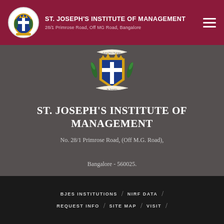ST. JOSEPH'S INSTITUTE OF MANAGEMENT | 28/1 Primrose Road, Off MG Road, Bangalore
[Figure (logo): St. Joseph's Institute of Management coat of arms / crest with shield, cross, crown and olive branches]
ST. JOSEPH'S INSTITUTE OF MANAGEMENT
No. 28/1 Primrose Road, (Off M.G. Road),

Bangalore - 560025.
BJES INSTITUTIONS / NIRF DATA / REQUEST INFO / SITE MAP / VISIT /